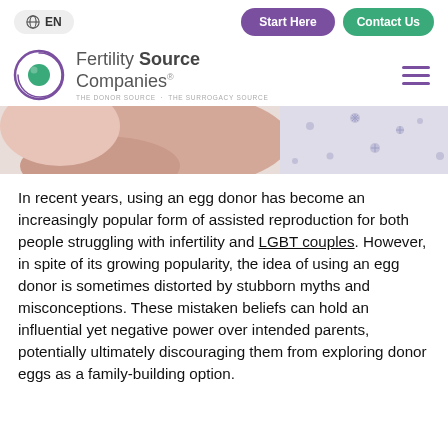EN | Start Here | Contact Us
[Figure (logo): Fertility Source Companies logo with circular eye-like icon in purple and teal. Tagline: THE DONOR SOURCE · THE SURROGACY SOURCE]
[Figure (photo): Close-up photo of a woman resting with a floral-patterned fabric background]
In recent years, using an egg donor has become an increasingly popular form of assisted reproduction for both people struggling with infertility and LGBT couples. However, in spite of its growing popularity, the idea of using an egg donor is sometimes distorted by stubborn myths and misconceptions. These mistaken beliefs can hold an influential yet negative power over intended parents, potentially ultimately discouraging them from exploring donor eggs as a family-building option.